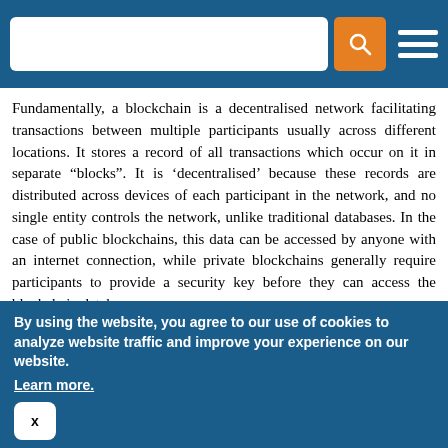Search bar and navigation header
Fundamentally, a blockchain is a decentralised network facilitating transactions between multiple participants usually across different locations. It stores a record of all transactions which occur on it in separate “blocks”. It is ‘decentralised’ because these records are distributed across devices of each participant in the network, and no single entity controls the network, unlike traditional databases. In the case of public blockchains, this data can be accessed by anyone with an internet connection, while private blockchains generally require participants to provide a security key before they can access the blockchain database.
Blockchain offers a unique way for securing data through a
By using the website, you agree to our use of cookies to analyze website traffic and improve your experience on our website. Learn more.
x